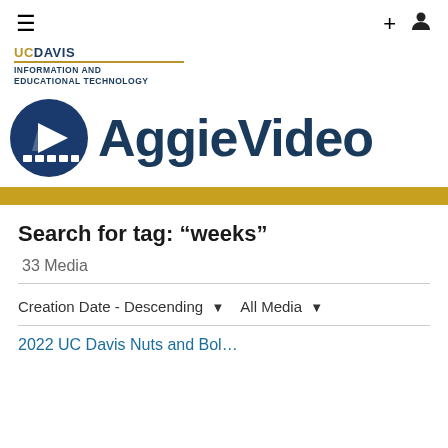[Figure (logo): UC Davis Information and Educational Technology logo with AggieVideo branding]
Search for tag: "weeks"
33 Media
Creation Date - Descending  ▾   All Media  ▾
2022 UC Davis Nuts and Bol…